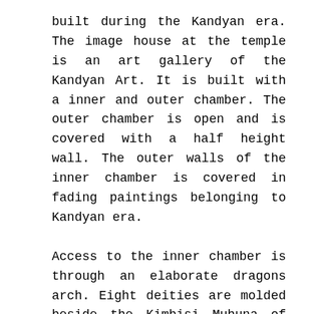built during the Kandyan era. The image house at the temple is an art gallery of the Kandyan Art. It is built with a inner and outer chamber. The outer chamber is open and is covered with a half height wall. The outer walls of the inner chamber is covered in fading paintings belonging to Kandyan era.
Access to the inner chamber is through an elaborate dragons arch. Eight deities are molded beside the Kimbisi Muhuna of the arch. Two lions stand at the bottom of the entrance and two guardian deities stand next to these lions.
The ancient Bodhi is said to be a sapling of the Jaya Sri Maha Bodhi of Anuradhapura. In addition you will find some granite artifacts including a large carved Siri Pathula Gala and a granite oil lamp.